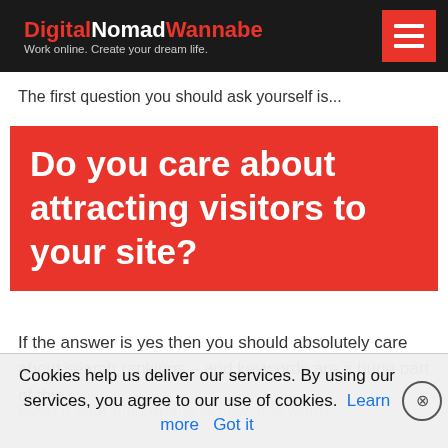DigitalNomadWannabe — Work online. Create your dream life.
The first question you should ask yourself is...
Do you care about attracting visitors to your site?
If the answer is yes then you should absolutely care about search rankings – and keywords are a huge part of this.
Even if your blog or site is new, it is worth
how. Some words... little competition
Cookies help us deliver our services. By using our services, you agree to our use of cookies. Learn more Got it